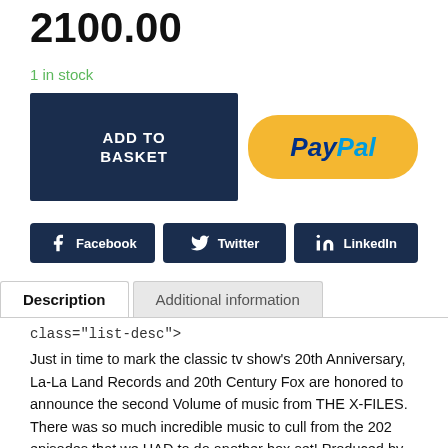2100.00
1 in stock
ADD TO BASKET
[Figure (other): PayPal button - yellow rounded rectangle with PayPal logo text in blue]
[Figure (other): Social share buttons row: Facebook, Twitter, LinkedIn - dark navy background]
Description | Additional information tabs
class="list-desc">
Just in time to mark the classic tv show's 20th Anniversary, La-La Land Records and 20th Century Fox are honored to announce the second Volume of music from THE X-FILES. There was so much incredible music to cull from the 202 episodes that we HAD to do another box set! Produced by show
This website uses cookies to ensure you get the best experience on our website. More Info